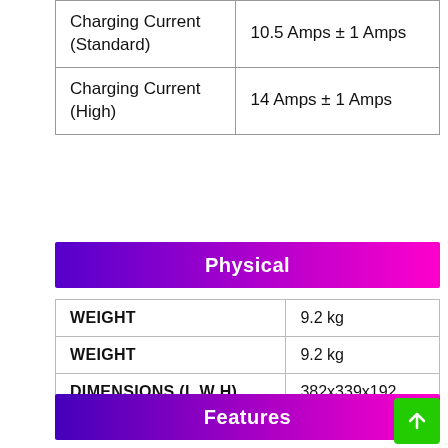|  |  |
| --- | --- |
| Charging Current (Standard) | 10.5 Amps ± 1 Amps |
| Charging Current (High) | 14 Amps ± 1 Amps |
Physical
|  |  |
| --- | --- |
| WEIGHT | 9.2 kg |
| WEIGHT | 9.2 kg |
| DIMENSIONS (L W H) | 382x339x192 |
Features